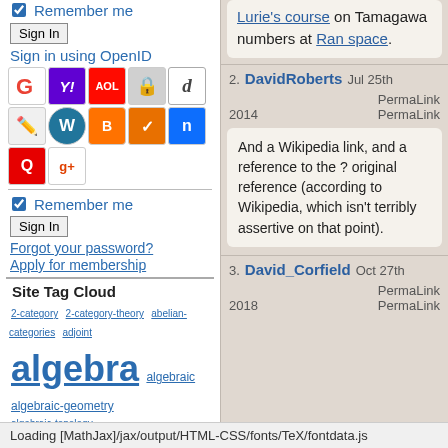Remember me
Sign In
Sign in using OpenID
[Figure (screenshot): OpenID provider icons: Google, Yahoo, AOL, lock, Diaspora, pencil/edit, WordPress, Blogger, checkbox, Ning, Quora, Google+]
Remember me
Sign In
Forgot your password?
Apply for membership
Site Tag Cloud
2-category 2-category-theory abelian-categories adjoint algebra algebraic algebraic-geometry algebraic-topology analysis analytic-geometry arithmetic arithmetic-geometry beauty bundles calculus categorical categories category category-theory chem- well-theory cohesion cohesive-homotopy-theory cohesive-homotopy-type-theory cohomology colimits
Lurie's course on Tamagawa numbers at Ran space.
2. DavidRoberts Jul 25th 2014 PermaLink
And a Wikipedia link, and a reference to the ? original reference (according to Wikipedia, which isn't terribly assertive on that point).
3. David_Corfield Oct 27th 2018 PermaLink
Loading [MathJax]/jax/output/HTML-CSS/fonts/TeX/fontdata.js